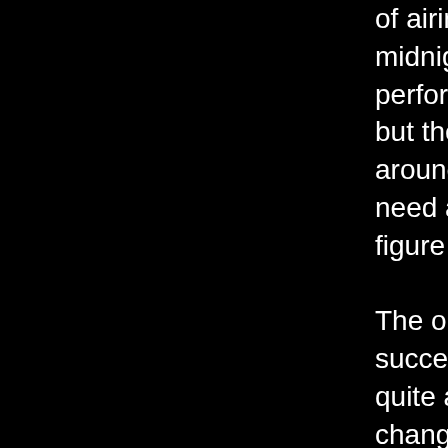of airing this before midnight. The script and performances are tight, but the story jumps around a bit, and you'll need a listen or two to figure out who's who.

The opening narration succeeds in anticipating quite a few of the changes that have happened in radio even as the background music eerily anticipates Vangelis' Blade Runner soundtrack. Country legend Charlie Pride even